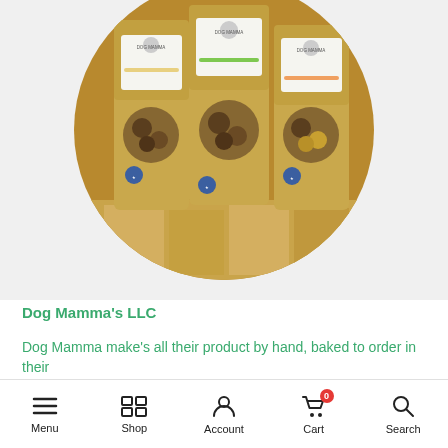[Figure (photo): Three kraft paper bags of Dog Mamma branded dog treats displayed in a circular cropped photo. The bags have white labels with a dog illustration and 'DOG MAMMA' text. The bags have transparent windows showing the treats inside.]
Dog Mamma's LLC
Dog Mamma make's all their product by hand, baked to order in their
Menu  Shop  Account  Cart 0  Search